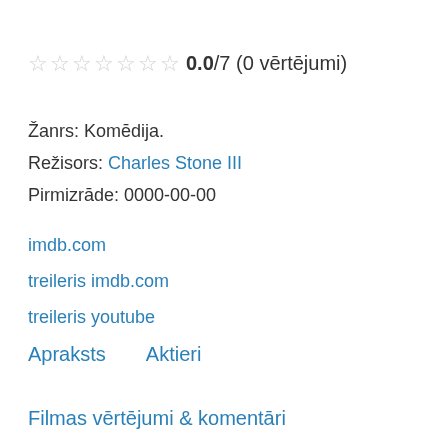☆☆☆☆☆☆☆ 0.0/7 (0 vērtējumi)
Žanrs: Komēdija.
Režisors: Charles Stone III
Pirmizrāde: 0000-00-00
imdb.com
treileris imdb.com
treileris youtube
Apraksts    Aktieri
Filmas vērtējumi & komentāri